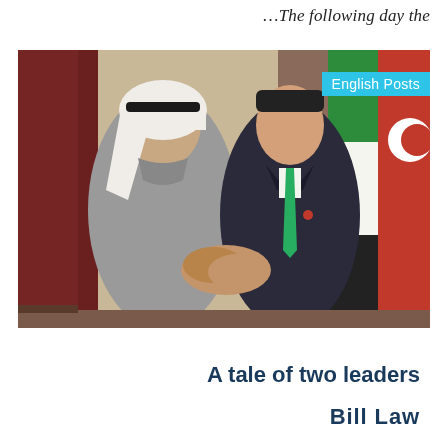…The following day the
[Figure (photo): Two men in formal attire shaking hands. The man on the left wears traditional Arab white headdress (keffiyeh) and gray thobe. The man on the right wears a dark suit with a green tie. Flags visible in the background. A 'English Posts' badge appears in the top right corner of the photo.]
A tale of two leaders
Bill Law